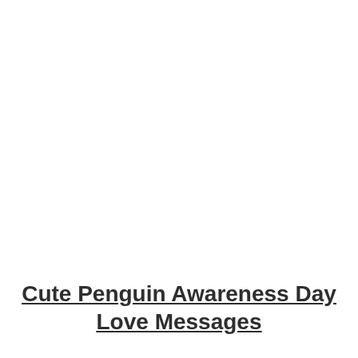Cute Penguin Awareness Day Love Messages